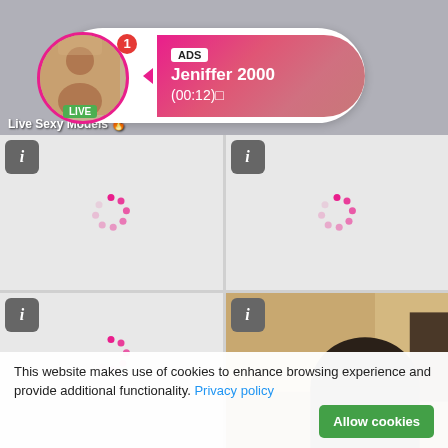[Figure (screenshot): Top banner with profile photo, notification popup showing ADS / Jeniffer 2000 / (00:12) with LIVE badge, and 'Live Sexy Models' text overlay]
[Figure (screenshot): 2x2 grid of streaming video thumbnails. Top-left and top-right show loading spinners on gray backgrounds with info buttons. Bottom-left shows loading spinner. Bottom-right shows a person with dark hair in a room.]
This website makes use of cookies to enhance browsing experience and provide additional functionality. Privacy policy
Allow cookies